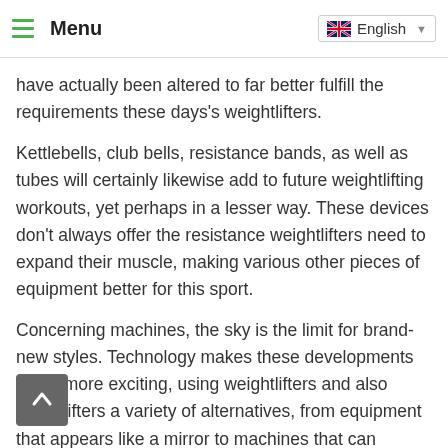Menu | English
have actually been altered to far better fulfill the requirements these days's weightlifters.
Kettlebells, club bells, resistance bands, as well as tubes will certainly likewise add to future weightlifting workouts, yet perhaps in a lesser way. These devices don't always offer the resistance weightlifters need to expand their muscle, making various other pieces of equipment better for this sport.
Concerning machines, the sky is the limit for brand-new styles. Technology makes these developments much more exciting, using weightlifters and also powerlifters a variety of alternatives, from equipment that appears like a mirror to machines that can establish extra tailored training programs.